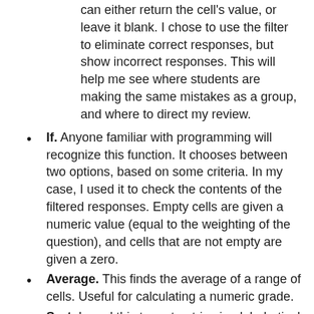can either return the cell's value, or leave it blank. I chose to use the filter to eliminate correct responses, but show incorrect responses. This will help me see where students are making the same mistakes as a group, and where to direct my review.
If. Anyone familiar with programming will recognize this function. It chooses between two options, based on some criteria. In my case, I used it to check the contents of the filtered responses. Empty cells are given a numeric value (equal to the weighting of the question), and cells that are not empty are given a zero.
Average. This finds the average of a range of cells. Useful for calculating a numeric grade.
Sort. I used this to sort entries in alphabetical order. Keeps things lined up with my class lists. Very neat and tidy.
Hope you're learning from all this. I know I am!